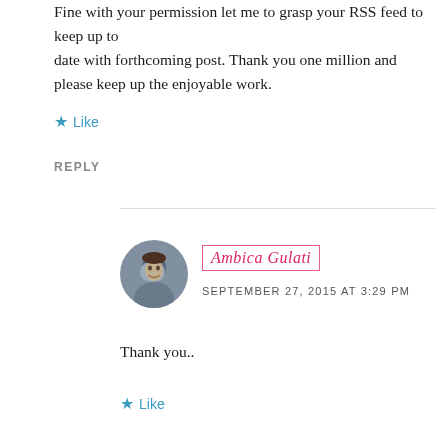Fine with your permission let me to grasp your RSS feed to keep up to date with forthcoming post. Thank you one million and please keep up the enjoyable work.
Like
REPLY
[Figure (photo): Circular avatar photo of Ambica Gulati]
Ambica Gulati
SEPTEMBER 27, 2015 AT 3:29 PM
Thank you..
Like